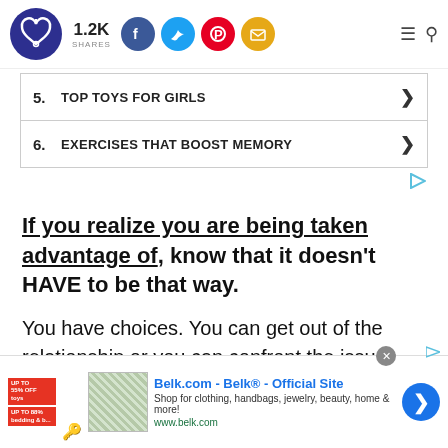1.2K SHARES — social share bar with Facebook, Twitter, Pinterest, Email buttons
5. TOP TOYS FOR GIRLS
6. EXERCISES THAT BOOST MEMORY
If you realize you are being taken advantage of, know that it doesn't HAVE to be that way.
You have choices. You can get out of the relationship or you can confront the issues and
[Figure (screenshot): Belk.com advertisement banner at bottom of page]